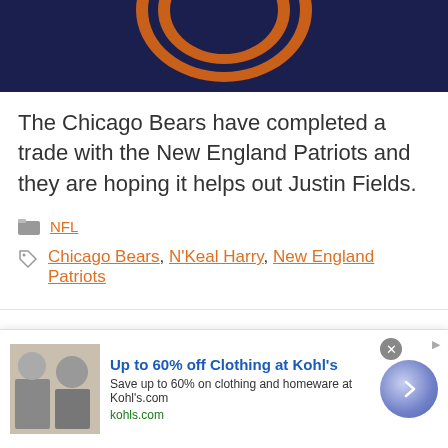[Figure (illustration): Chicago Bears logo on dark navy blue background, partial circular logo visible at top]
The Chicago Bears have completed a trade with the New England Patriots and they are hoping it helps out Justin Fields.
NFL
Chicago Bears, N'Keal Harry, New England Patriots
Chicago Bears LB Matthew Adams In
[Figure (advertisement): Ad banner: Up to 60% off Clothing at Kohl's. Save up to 60% on clothing and homeware at Kohls.com. kohls.com]